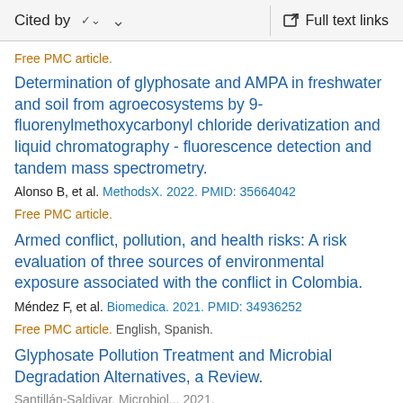Cited by   Full text links
Free PMC article.
Determination of glyphosate and AMPA in freshwater and soil from agroecosystems by 9-fluorenylmethoxycarbonyl chloride derivatization and liquid chromatography - fluorescence detection and tandem mass spectrometry.
Alonso B, et al. MethodsX. 2022. PMID: 35664042
Free PMC article.
Armed conflict, pollution, and health risks: A risk evaluation of three sources of environmental exposure associated with the conflict in Colombia.
Méndez F, et al. Biomedica. 2021. PMID: 34936252
Free PMC article. English, Spanish.
Glyphosate Pollution Treatment and Microbial Degradation Alternatives, a Review.
Santillán-Saldivar, Microbiol... 2021.